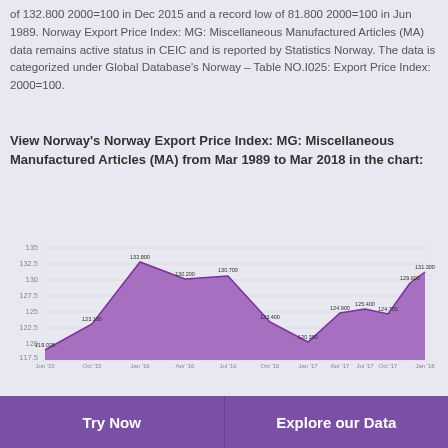of 132.800 2000=100 in Dec 2015 and a record low of 81.800 2000=100 in Jun 1989. Norway Export Price Index: MG: Miscellaneous Manufactured Articles (MA) data remains active status in CEIC and is reported by Statistics Norway. The data is categorized under Global Database's Norway – Table NO.I025: Export Price Index: 2000=100.
View Norway's Norway Export Price Index: MG: Miscellaneous Manufactured Articles (MA) from Mar 1989 to Mar 2018 in the chart:
[Figure (area-chart): Norway Export Price Index: MG: Miscellaneous Manufactured Articles (MA)]
Try Now
Explore our Data